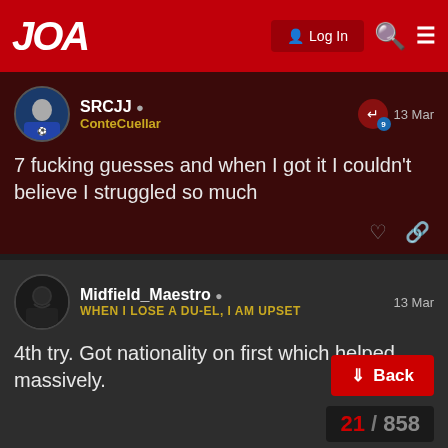JOA  Log In
SRCJJ ConteCuellar 13 Mar
7 fucking guesses and when I got it I couldn't believe I struggled so much
Midfield_Maestro WHEN I LOSE A DU-EL, I AM UPSET 13 Mar
4th try. Got nationality on first which helped massively.
Pires
Back
21 / 858